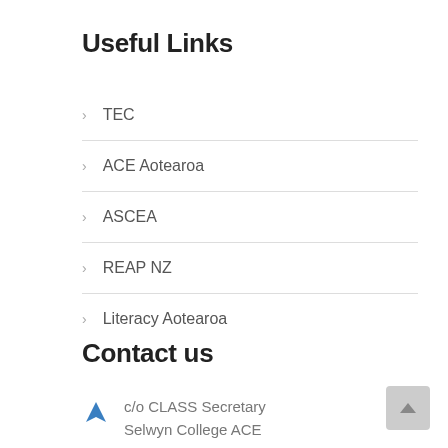Useful Links
TEC
ACE Aotearoa
ASCEA
REAP NZ
Literacy Aotearoa
Contact us
c/o CLASS Secretary Selwyn College ACE